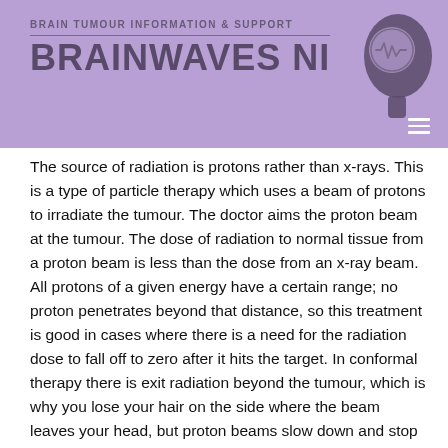[Figure (logo): Brainwaves NI logo: purple banner with 'BRAIN TUMOUR INFORMATION & SUPPORT' text above 'BRAINWAVES NI' in large bold letters, with a silhouette of a human head with a brain and EEG wave icon on the right side.]
The source of radiation is protons rather than x-rays. This is a type of particle therapy which uses a beam of protons to irradiate the tumour. The doctor aims the proton beam at the tumour. The dose of radiation to normal tissue from a proton beam is less than the dose from an x-ray beam. All protons of a given energy have a certain range; no proton penetrates beyond that distance, so this treatment is good in cases where there is a need for the radiation dose to fall off to zero after it hits the target. In conformal therapy there is exit radiation beyond the tumour, which is why you lose your hair on the side where the beam leaves your head, but proton beams slow down and stop within the target. Proton beam therapy is incredibly expensive. At the moment there are two proton beam machines in the UK but these can only